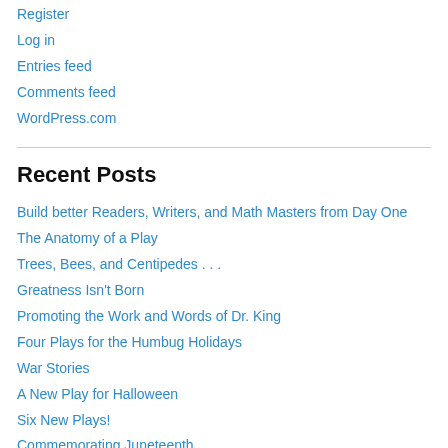Register
Log in
Entries feed
Comments feed
WordPress.com
Recent Posts
Build better Readers, Writers, and Math Masters from Day One
The Anatomy of a Play
Trees, Bees, and Centipedes . . .
Greatness Isn't Born
Promoting the Work and Words of Dr. King
Four Plays for the Humbug Holidays
War Stories
A New Play for Halloween
Six New Plays!
Commemorating Juneteenth